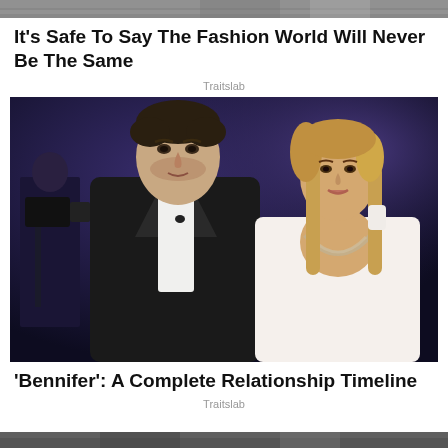[Figure (photo): Partial top image, cropped at top of page]
It's Safe To Say The Fashion World Will Never Be The Same
Traitslab
[Figure (photo): Ben Affleck in black tuxedo and Jennifer Lopez in white low-cut dress posing together at a formal event, with a cameraperson visible in background]
'Bennifer': A Complete Relationship Timeline
Traitslab
[Figure (photo): Partial bottom image, cropped at bottom of page]